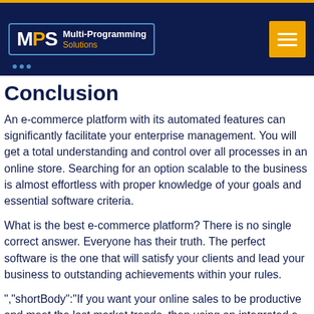MPS Multi-Programming Solutions
Conclusion
An e-commerce platform with its automated features can significantly facilitate your enterprise management. You will get a total understanding and control over all processes in an online store. Searching for an option scalable to the business is almost effortless with proper knowledge of your goals and essential software criteria.
What is the best e-commerce platform? There is no single correct answer. Everyone has their truth. The perfect software is the one that will satisfy your clients and lead your business to outstanding achievements within your rules.
‌","shortBody":"If you want your online sales to be productive and meet the last market trends, then using an integrated e-commerce platform is not a will but a necessity. Let's say you